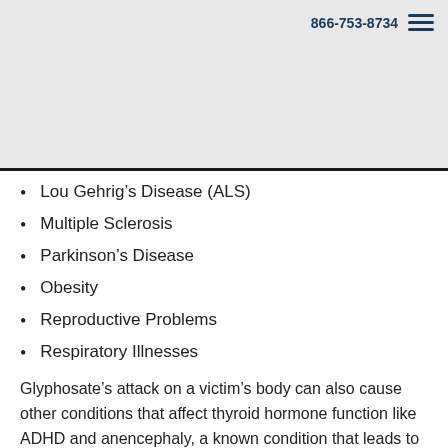866-753-8734
Lou Gehrig’s Disease (ALS)
Multiple Sclerosis
Parkinson’s Disease
Obesity
Reproductive Problems
Respiratory Illnesses
Glyphosate’s attack on a victim’s body can also cause other conditions that affect thyroid hormone function like ADHD and anencephaly, a known condition that leads to the